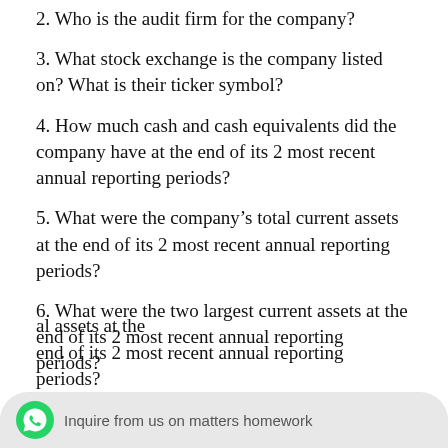2. Who is the audit firm for the company?
3. What stock exchange is the company listed on? What is their ticker symbol?
4. How much cash and cash equivalents did the company have at the end of its 2 most recent annual reporting periods?
5. What were the company's total current assets at the end of its 2 most recent annual reporting periods?
6. What were the two largest current assets at the end of its 2 most recent annual reporting periods?
al assets at the end of its 2 most recent annual reporting periods?